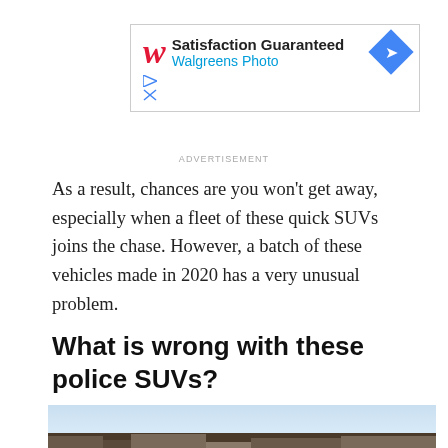[Figure (other): Walgreens Photo advertisement banner: red stylized W logo, text 'Satisfaction Guaranteed' and 'Walgreens Photo' in blue, blue diamond with arrow icon, play and close controls]
ADVERTISEMENT
As a result, chances are you won't get away, especially when a fleet of these quick SUVs joins the chase. However, a batch of these vehicles made in 2020 has a very unusual problem.
What is wrong with these police SUVs?
[Figure (photo): Street-level photo showing rooftops, telephone poles and wires against a partly cloudy sky, with trees and building facades visible]